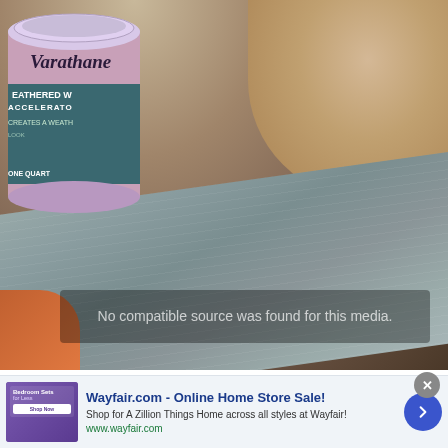[Figure (photo): Photo of a can of Varathane Weathered Wood Accelerator product sitting on a cardboard surface next to a weathered grey wood plank. The can has a teal/dark label reading 'Varathane WEATHERED WOOD ACCELERATOR CREATES A WEATHERED LOOK'. A video overlay reads 'No compatible source was found for this media.']
No compatible source was found for this media.
[Figure (screenshot): Advertisement banner for Wayfair.com showing a thumbnail image of bedroom furniture sets on a purple background, with text 'Wayfair.com - Online Home Store Sale!', 'Shop for A Zillion Things Home across all styles at Wayfair!', 'www.wayfair.com', and a blue circular arrow button.]
Wayfair.com - Online Home Store Sale!
Shop for A Zillion Things Home across all styles at Wayfair!
www.wayfair.com